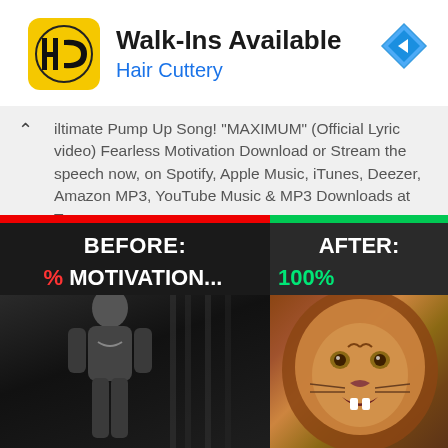[Figure (advertisement): Hair Cuttery ad banner with HC logo, 'Walk-Ins Available' text, blue Hair Cuttery subtitle, and blue navigation diamond icon]
iltimate Pump Up Song! "MAXIMUM" (Official Lyric Video) Fearless Motivation Download or Stream the speech now, on Spotify, Apple Music, iTunes, Deezer, Amazon MP3, YouTube Music & MP3 Downloads at Team... READ MORE....
[Figure (photo): Before/After motivational image split: Left panel shows black and white gym photo with 'BEFORE: MOTIVATION...' text over red bar; Right panel shows lion closeup with 'AFTER: 100% MOTIVATIO' text over green bar]